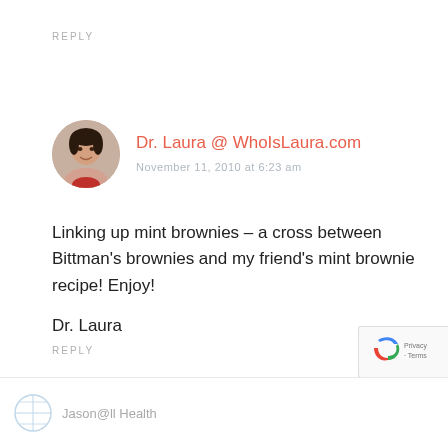REPLY
Dr. Laura @ WhoIsLaura.com
November 11, 2010 at 6:23 am
Linking up mint brownies – a cross between Bittman's brownies and my friend's mint brownie recipe! Enjoy!

Dr. Laura
REPLY
Jason@ll Health